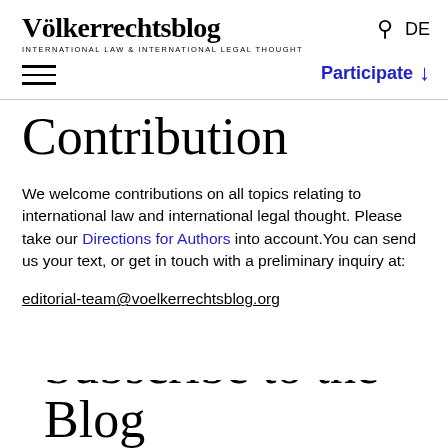Völkerrechtsblog — INTERNATIONAL LAW & INTERNATIONAL LEGAL THOUGHT — DE — Participate
Contribution
We welcome contributions on all topics relating to international law and international legal thought. Please take our Directions for Authors into account. You can send us your text, or get in touch with a preliminary inquiry at:
editorial-team@voelkerrechtsblog.org
Subscribe to the Blog